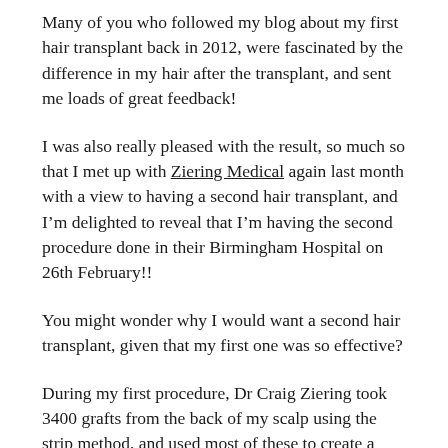Many of you who followed my blog about my first hair transplant back in 2012, were fascinated by the difference in my hair after the transplant, and sent me loads of great feedback!
I was also really pleased with the result, so much so that I met up with Ziering Medical again last month with a view to having a second hair transplant, and I'm delighted to reveal that I'm having the second procedure done in their Birmingham Hospital on 26th February!!
You might wonder why I would want a second hair transplant, given that my first one was so effective?
During my first procedure, Dr Craig Ziering took 3400 grafts from the back of my scalp using the strip method, and used most of these to create a very natural looking hairline at the front. The result was